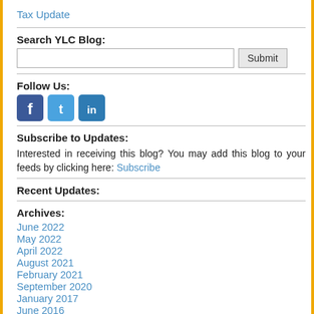Tax Update
Search YLC Blog:
Follow Us:
[Figure (other): Social media icons: Facebook, Twitter, LinkedIn]
Subscribe to Updates:
Interested in receiving this blog? You may add this blog to your feeds by clicking here: Subscribe
Recent Updates:
Archives:
June 2022
May 2022
April 2022
August 2021
February 2021
September 2020
January 2017
June 2016